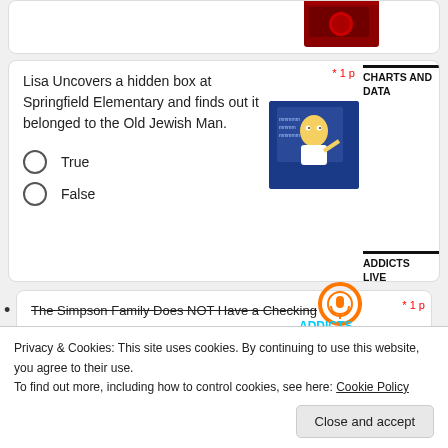[Figure (illustration): Red book with logo, partially cropped at top]
Lisa Uncovers a hidden box at Springfield Elementary and finds out it belonged to the Old Jewish Man.
* 1 p
[Figure (illustration): Homer Simpson writing on a chalkboard]
CHARTS AND DATA
True
False
ADDICTS LIVE (PODCAST AND SHOW)
The Simpson Family Does NOT Have a Checking
[Figure (logo): Addicts Live podcast logo with orange circle and microphone]
Privacy & Cookies: This site uses cookies. By continuing to use this website, you agree to their use.
To find out more, including how to control cookies, see here: Cookie Policy
Close and accept